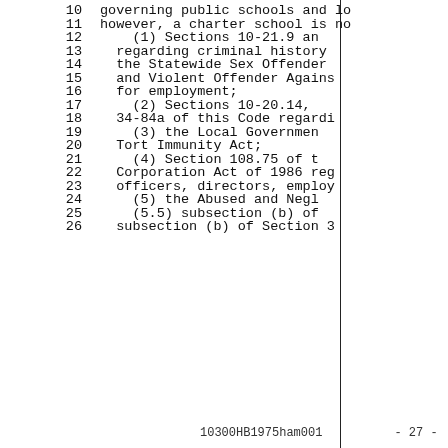10   governing public schools and lo
11   however, a charter school is no
12       (1) Sections 10-21.9 an
13   regarding criminal history
14   the Statewide Sex Offender
15   and Violent Offender Agains
16   for employment;
17       (2) Sections 10-20.14,
18   34-84a of this Code regardi
19       (3) the Local Governmen
20   Tort Immunity Act;
21       (4) Section 108.75 of t
22   Corporation Act of 1986 reg
23   officers, directors, employ
24       (5) the Abused and Negl
25       (5.5) subsection (b) of
26   subsection (b) of Section 3
10300HB1975ham001          - 27 -